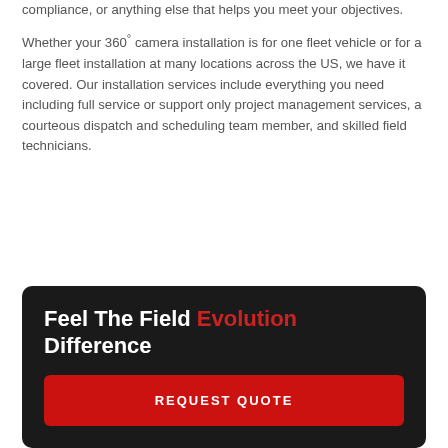compliance, or anything else that helps you meet your objectives.
Whether your 360° camera installation is for one fleet vehicle or for a large fleet installation at many locations across the US, we have it covered. Our installation services include everything you need including full service or support only project management services, a courteous dispatch and scheduling team member, and skilled field technicians.
Feel The Field Evolution Difference
REQUEST QUOTE